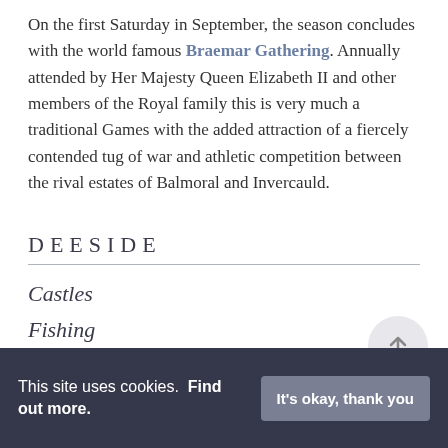On the first Saturday in September, the season concludes with the world famous Braemar Gathering. Annually attended by Her Majesty Queen Elizabeth II and other members of the Royal family this is very much a traditional Games with the added attraction of a fiercely contended tug of war and athletic competition between the rival estates of Balmoral and Invercauld.
DEESIDE
Castles
Fishing
This site uses cookies. Find out more.